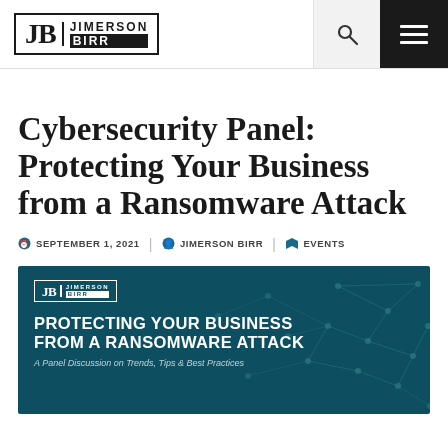JB JIMERSON BIRR
Cybersecurity Panel: Protecting Your Business from a Ransomware Attack
SEPTEMBER 1, 2021 | JIMERSON BIRR | EVENTS
[Figure (illustration): Dark teal event banner with geometric network pattern, Jimerson Birr logo, title 'PROTECTING YOUR BUSINESS FROM A RANSOMWARE ATTACK', and subtitle 'A Panel Discussion on Trends, Tips & Best Practices']